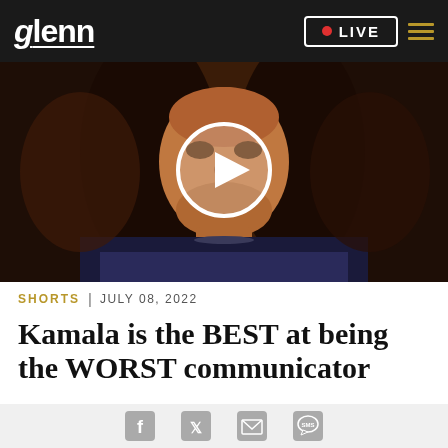glenn | LIVE
[Figure (screenshot): Video thumbnail showing a woman with dark hair, with a white circular play button overlay in the center]
SHORTS | JULY 08, 2022
Kamala is the BEST at being the WORST communicator
Social share icons: Facebook, Twitter, Email, SMS